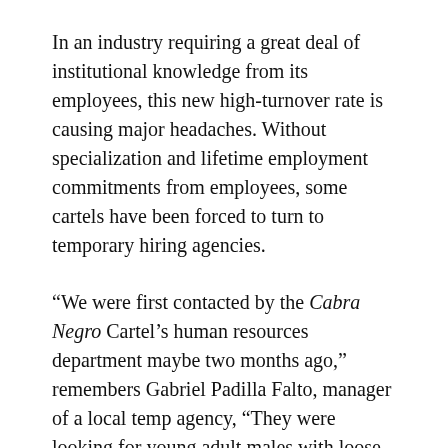In an industry requiring a great deal of institutional knowledge from its employees, this new high-turnover rate is causing major headaches. Without specialization and lifetime employment commitments from employees, some cartels have been forced to turn to temporary hiring agencies.
“We were first contacted by the Cabra Negro Cartel’s human resources department maybe two months ago,” remembers Gabriel Padilla Falto, manager of a local temp agency, “They were looking for young adult males with loose morals, but I only had a few of those. It seems they were desperate, so they really just took anybody we had.”